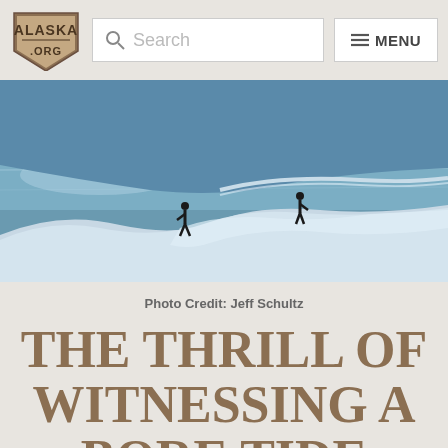[Figure (logo): Alaska.org shield/badge logo in brown/tan colors with text ALASKA on top and .ORG below]
[Figure (screenshot): Search bar with magnifying glass icon and placeholder text 'Search']
[Figure (screenshot): Menu button with hamburger icon lines and text 'MENU']
[Figure (photo): Dramatic aerial or wide-angle photograph of two silhouetted figures on a snow and ice shoreline with blue reflective water, showing a bore tide wave curving in the background]
Photo Credit: Jeff Schultz
THE THRILL OF WITNESSING A BORE TIDE ALONG